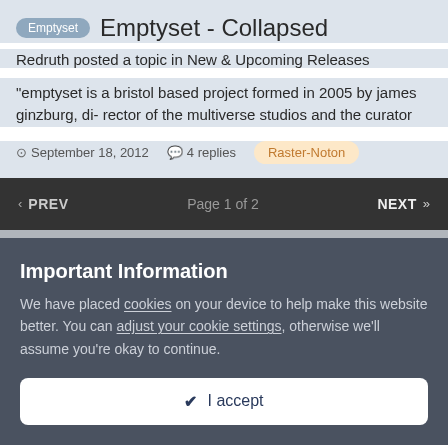Emptyset - Collapsed
Redruth posted a topic in New & Upcoming Releases
"emptyset is a bristol based project formed in 2005 by james ginzburg, di- rector of the multiverse studios and the curator
September 18, 2012  4 replies  Raster-Noton
< PREV  Page 1 of 2  NEXT >
Important Information
We have placed cookies on your device to help make this website better. You can adjust your cookie settings, otherwise we'll assume you're okay to continue.
✔ I accept